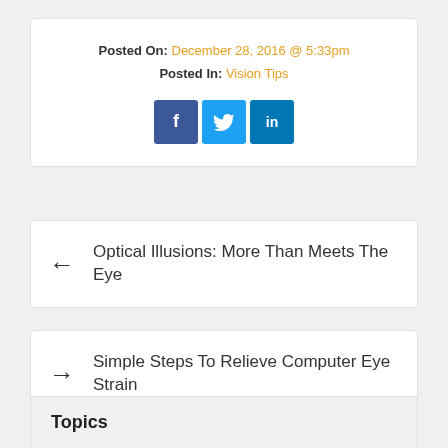Posted On: December 28, 2016 @ 5:33pm
Posted In: Vision Tips
[Figure (other): Social media share icons: Facebook (f), Twitter (bird), LinkedIn (in)]
← Optical Illusions: More Than Meets The Eye
→ Simple Steps To Relieve Computer Eye Strain
Topics